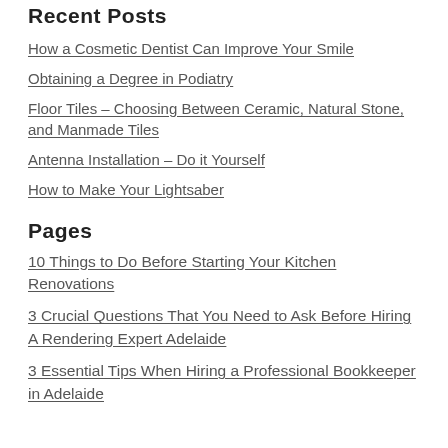Recent Posts
How a Cosmetic Dentist Can Improve Your Smile
Obtaining a Degree in Podiatry
Floor Tiles – Choosing Between Ceramic, Natural Stone, and Manmade Tiles
Antenna Installation – Do it Yourself
How to Make Your Lightsaber
Pages
10 Things to Do Before Starting Your Kitchen Renovations
3 Crucial Questions That You Need to Ask Before Hiring A Rendering Expert Adelaide
3 Essential Tips When Hiring a Professional Bookkeeper in Adelaide